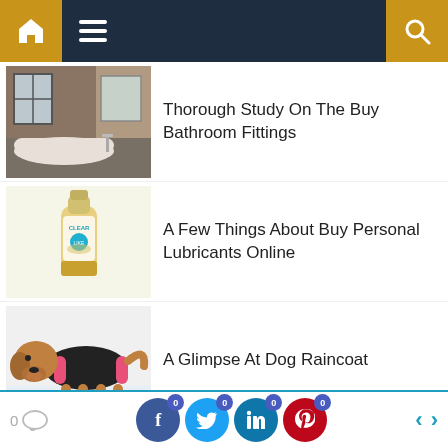Navigation bar with home, menu, search icons
Thorough Study On The Buy Bathroom Fittings
[Figure (photo): Bathroom interior with freestanding bathtub and wood paneling]
A Few Things About Buy Personal Lubricants Online
[Figure (photo): Clear personal lubricant bottle product]
A Glimpse At Dog Raincoat
[Figure (photo): Golden retriever dog wearing a black and pink raincoat]
0 comments | 0 Facebook shares | 0 Twitter shares | 0 LinkedIn shares | 0 Pinterest shares | navigation arrows